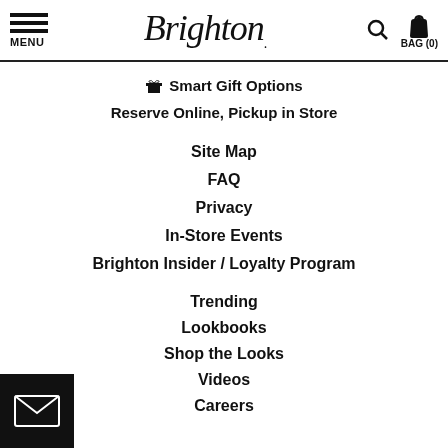MENU | Brighton | BAG (0)
Smart Gift Options
Reserve Online, Pickup in Store
Site Map
FAQ
Privacy
In-Store Events
Brighton Insider / Loyalty Program
Trending
Lookbooks
Shop the Looks
Videos
Careers